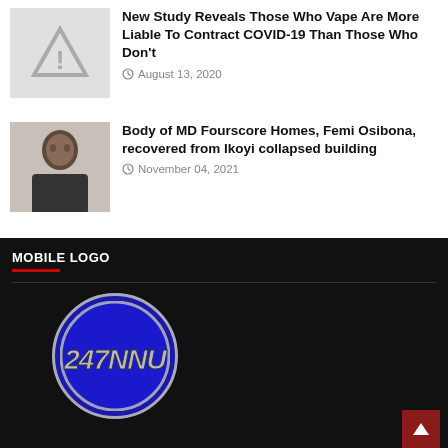[Figure (illustration): Warning/alert triangle icon with exclamation mark, gray placeholder thumbnail]
New Study Reveals Those Who Vape Are More Liable To Contract COVID-19 Than Those Who Don't
August 13, 2020
[Figure (photo): Photo of a man in a dark shirt, appears to be a headshot/portrait]
Body of MD Fourscore Homes, Femi Osibona, recovered from Ikoyi collapsed building
November 04, 2021
MOBILE LOGO
[Figure (logo): 247NNU logo — dark blue circle with metallic italic 247NNU text]
RECENT POSTS